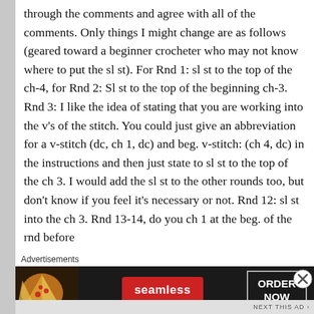through the comments and agree with all of the comments. Only things I might change are as follows (geared toward a beginner crocheter who may not know where to put the sl st). For Rnd 1: sl st to the top of the ch-4, for Rnd 2: Sl st to the top of the beginning ch-3. Rnd 3: I like the idea of stating that you are working into the v's of the stitch. You could just give an abbreviation for a v-stitch (dc, ch 1, dc) and beg. v-stitch: (ch 4, dc) in the instructions and then just state to sl st to the top of the ch 3. I would add the sl st to the other rounds too, but don't know if you feel it's necessary or not. Rnd 12: sl st into the ch 3. Rnd 13-14, do you ch 1 at the beg. of the rnd before
Advertisements
[Figure (screenshot): Advertisement banner for Seamless food delivery service. Shows pizza slice image on left, red Seamless logo badge in center, and 'ORDER NOW' button in bordered box on right, all on dark background.]